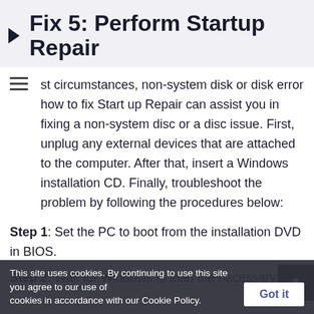Fix 5: Perform Startup Repair
st circumstances, non-system disk or disk error how to fix Start up Repair can assist you in fixing a non-system disc or a disc issue. First, unplug any external devices that are attached to the computer. After that, insert a Windows installation CD. Finally, troubleshoot the problem by following the procedures below:
Step 1: Set the PC to boot from the installation DVD in BIOS.
Step 2: Wait for Windows to load the necessary files using installation method. Then click 'Next' when you see the Windows setup screen.
This site uses cookies. By continuing to use this site you agree to our use of cookies in accordance with our Cookie Policy.